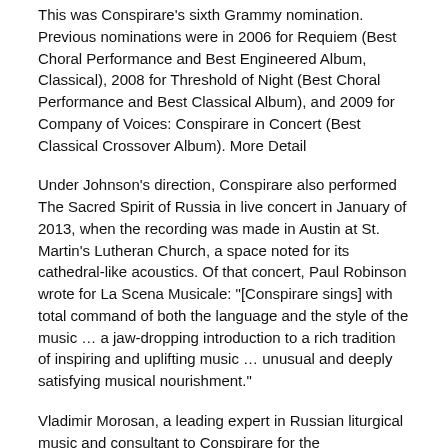This was Conspirare's sixth Grammy nomination. Previous nominations were in 2006 for Requiem (Best Choral Performance and Best Engineered Album, Classical), 2008 for Threshold of Night (Best Choral Performance and Best Classical Album), and 2009 for Company of Voices: Conspirare in Concert (Best Classical Crossover Album). More Detail
Under Johnson's direction, Conspirare also performed The Sacred Spirit of Russia in live concert in January of 2013, when the recording was made in Austin at St. Martin's Lutheran Church, a space noted for its cathedral-like acoustics. Of that concert, Paul Robinson wrote for La Scena Musicale: "[Conspirare sings] with total command of both the language and the style of the music … a jaw-dropping introduction to a rich tradition of inspiring and uplifting music … unusual and deeply satisfying musical nourishment."
Vladimir Morosan, a leading expert in Russian liturgical music and consultant to Conspirare for the performances and recording, wrote in Orthodox Arts Journal: "Although many Russian composers … wrote more or less complete settings of the Divine Liturgy, on a typical Sunday in parishes of the Russian tradition one is not likely to hear the works of just one composer. The practice, rather, is to sing an eclectic mix of settings by various composers. This was the approach used to build the program [recorded] by Conspirare … Several works on this program are North American (and perhaps world-wide) premieres, brought to life some